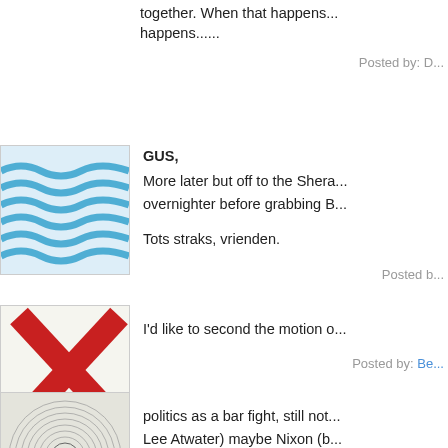together. When that happens... happens......
Posted by: D...
[Figure (photo): Avatar image with blue wave pattern]
GUS,
More later but off to the Shera... overnighter before grabbing B...
Tots straks, vrienden.
Posted b...
[Figure (photo): Avatar image with red X on white background]
I'd like to second the motion o...
Posted by: Be...
[Figure (photo): Avatar image with circular pattern on light background]
politics as a bar fight, still not... Lee Atwater) maybe Nixon (b... way race then against McGov...
Post...
[Figure (photo): Avatar image partial, light blue tones]
Has Jim Miller covered this?